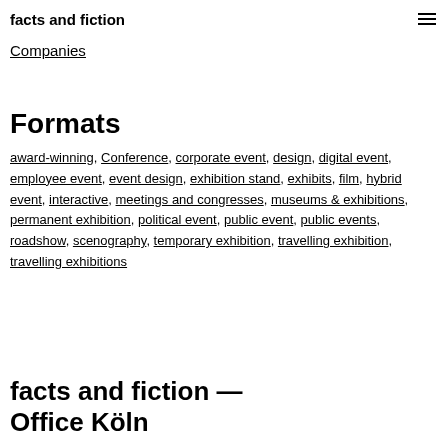facts and fiction
Companies
Formats
award-winning, Conference, corporate event, design, digital event, employee event, event design, exhibition stand, exhibits, film, hybrid event, interactive, meetings and congresses, museums & exhibitions, permanent exhibition, political event, public event, public events, roadshow, scenography, temporary exhibition, travelling exhibition, travelling exhibitions
facts and fiction — Office Köln